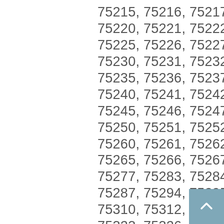75215, 75216, 75217, 75218, 75219, 75220, 75221, 75222, 75223, 75224, 75225, 75226, 75227, 75228, 75229, 75230, 75231, 75232, 75233, 75234, 75235, 75236, 75237, 75238, 75239, 75240, 75241, 75242, 75243, 75244, 75245, 75246, 75247, 75248, 75249, 75250, 75251, 75252, 75253, 75258, 75260, 75261, 75262, 75263, 75264, 75265, 75266, 75267, 75270, 75275, 75277, 75283, 75284, 75285, 75286, 75287, 75294, 75295, 75301, 75303, 75310, 75312, 75313, 75315, 75320, 75323, 75326, 75336, 75339, 75342, 75346, 75350, 75353, 75354, 75355, 75356, 75357, 75359, 75360, 75363, 75364, 75367, 75368, 75370, 75371,